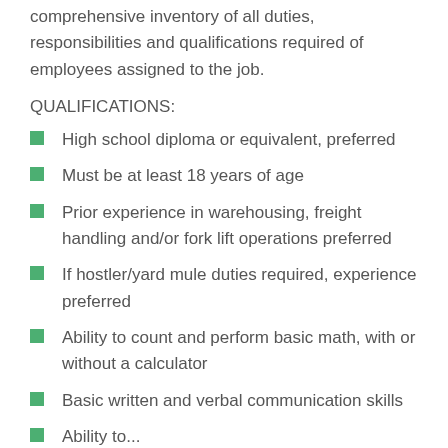comprehensive inventory of all duties, responsibilities and qualifications required of employees assigned to the job.
QUALIFICATIONS:
High school diploma or equivalent, preferred
Must be at least 18 years of age
Prior experience in warehousing, freight handling and/or fork lift operations preferred
If hostler/yard mule duties required, experience preferred
Ability to count and perform basic math, with or without a calculator
Basic written and verbal communication skills
Ability to...